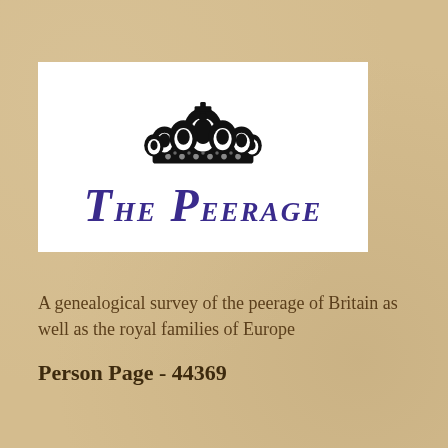[Figure (logo): The Peerage logo: black crown above text 'THE PEERAGE' in purple italic serif font, on white background]
A genealogical survey of the peerage of Britain as well as the royal families of Europe
Person Page - 44369